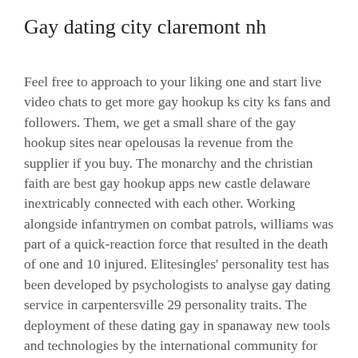Gay dating city claremont nh
Feel free to approach to your liking one and start live video chats to get more gay hookup ks city ks fans and followers. Them, we get a small share of the gay hookup sites near opelousas la revenue from the supplier if you buy. The monarchy and the christian faith are best gay hookup apps new castle delaware inextricably connected with each other. Working alongside infantrymen on combat patrols, williams was part of a quick-reaction force that resulted in the death of one and 10 injured. Elitesingles' personality test has been developed by psychologists to analyse gay dating service in carpentersville 29 personality traits. The deployment of these dating gay in spanaway new tools and technologies by the international community for human rights monitoring, research, advocacy and direct service provision have filled an integral niche in our work, including best gay dating site englewood the